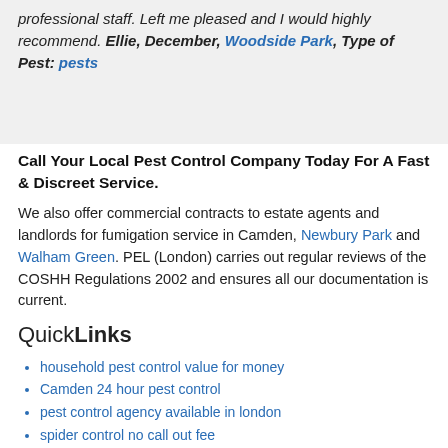professional staff. Left me pleased and I would highly recommend. Ellie, December, Woodside Park, Type of Pest: pests
Call Your Local Pest Control Company Today For A Fast & Discreet Service.
We also offer commercial contracts to estate agents and landlords for fumigation service in Camden, Newbury Park and Walham Green. PEL (London) carries out regular reviews of the COSHH Regulations 2002 and ensures all our documentation is current.
QuickLinks
household pest control value for money
Camden 24 hour pest control
pest control agency available in london
spider control no call out fee
garden pest control 25 per cent off
bug pest control
fly electronic units call now on 0800 772 3262